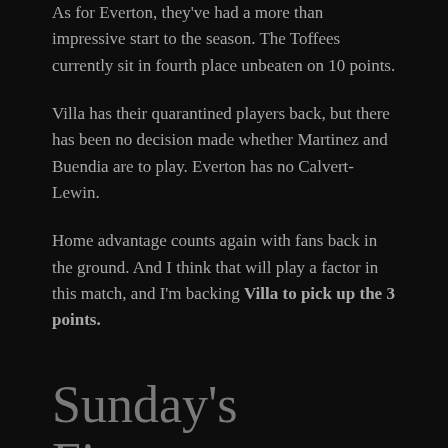As for Everton, they've had a more than impressive start to the season. The Toffees currently sit in fourth place unbeaten on 10 points.
Villa has their quarantined players back, but there has been no decision made whether Martinez and Buendia are to play. Everton has no Calvert-Lewin.
Home advantage counts again with fans back in the ground. And I think that will play a factor in this match, and I'm backing Villa to pick up the 3 points.
Sunday's Fixtures
Moving onto Sunday's fixtures, and at 2pm it's Brighton v Leicester, and West Ham v Man Utd.